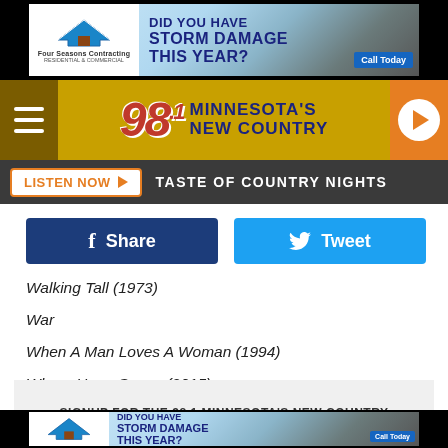[Figure (screenshot): Top advertisement banner for Four Seasons Contracting - 'DID YOU HAVE STORM DAMAGE THIS YEAR?' with Call Today button]
[Figure (logo): 98.1 Minnesota's New Country radio station logo on gold/yellow background with hamburger menu and play button]
LISTEN NOW ▶  TASTE OF COUNTRY NIGHTS
[Figure (screenshot): Facebook Share button (dark blue) and Twitter Tweet button (light blue)]
Walking Tall (1973)
War
When A Man Loves A Woman (1994)
Where Hope Grows (2015)
Wonder Boys (2000)
SIGNUP FOR THE 98.1 MINNESOTA'S NEW COUNTRY
[Figure (screenshot): Bottom advertisement banner for Four Seasons Contracting - 'DID YOU HAVE STORM DAMAGE THIS YEAR?' with Call Today button]